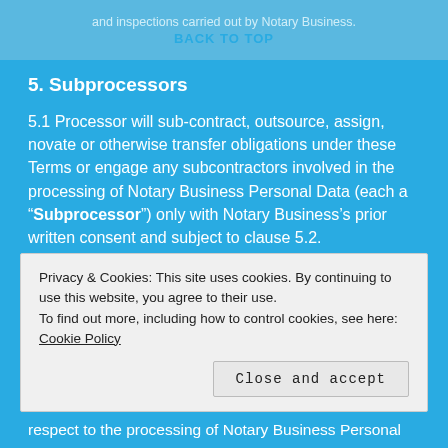and inspections carried out by Notary Business.
BACK TO TOP
5. Subprocessors
5.1 Processor will sub-contract, outsource, assign, novate or otherwise transfer obligations under these Terms or engage any subcontractors involved in the processing of Notary Business Personal Data (each a “Subprocessor”) only with Notary Business’s prior written consent and subject to clause 5.2.
5.2 When engaging a Subprocessor, Processor will:
(a) carry out reasonable due diligence;
Privacy & Cookies: This site uses cookies. By continuing to use this website, you agree to their use.
To find out more, including how to control cookies, see here: Cookie Policy
Close and accept
respect to the processing of Notary Business Personal